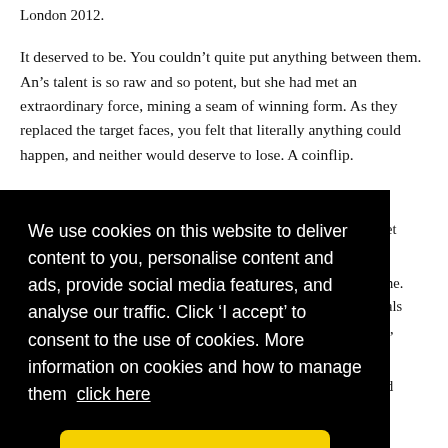London 2012.
It deserved to be. You couldn't quite put anything between them. An's talent is so raw and so potent, but she had met an extraordinary force, mining a seam of winning form. As they replaced the target faces, you felt that literally anything could happen, and neither would deserve to lose. A coinflip.
An is up first. It's a ten, but it's beatable. The heartrate
[Figure (screenshot): Cookie consent overlay on a black background with yellow 'I Accept' button. Text reads: We use cookies on this website to deliver content to you, personalise content and ads, provide social media features, and analyse our traffic. Click 'I accept' to consent to the use of cookies. More information on cookies and how to manage them click here]
[Figure (photo): Partial view of a sky/outdoor scene image at the bottom of the page]